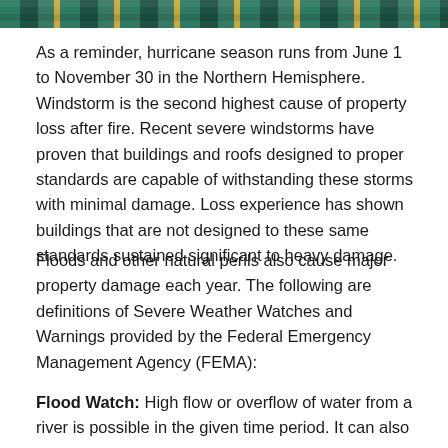[Figure (other): Decorative header banner with teal/green and gold striped pattern]
As a reminder, hurricane season runs from June 1 to November 30 in the Northern Hemisphere. Windstorm is the second highest cause of property loss after fire. Recent severe windstorms have proven that buildings and roofs designed to proper standards are capable of withstanding these storms with minimal damage. Loss experience has shown buildings that are not designed to these same standards sustained significant to heavy damage.
Floods and other natural perils also cause major property damage each year. The following are definitions of Severe Weather Watches and Warnings provided by the Federal Emergency Management Agency (FEMA):
Flood Watch: High flow or overflow of water from a river is possible in the given time period. It can also